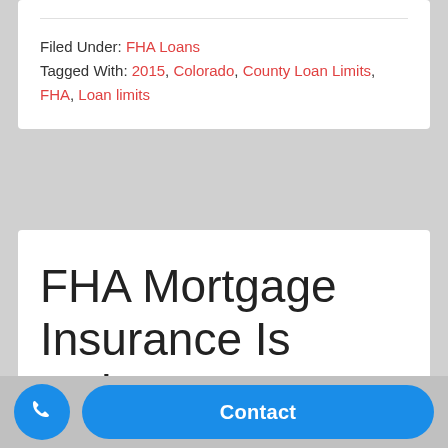Filed Under: FHA Loans
Tagged With: 2015, Colorado, County Loan Limits, FHA, Loan limits
FHA Mortgage Insurance Is Going Down
January 15, 2015 by Sean Young
Contact